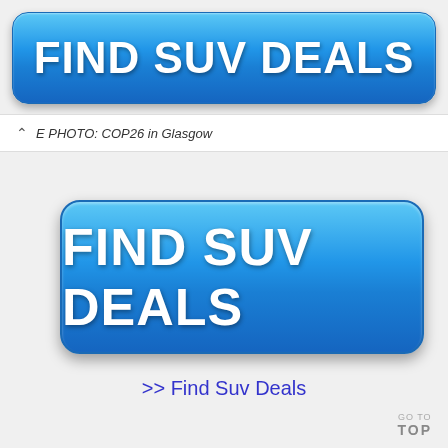[Figure (other): Blue gradient button with white bold text reading FIND SUV DEALS]
E PHOTO: COP26 in Glasgow
[Figure (other): Larger blue gradient button with white bold text reading FIND SUV DEALS]
>> Find Suv Deals
GO TO TOP